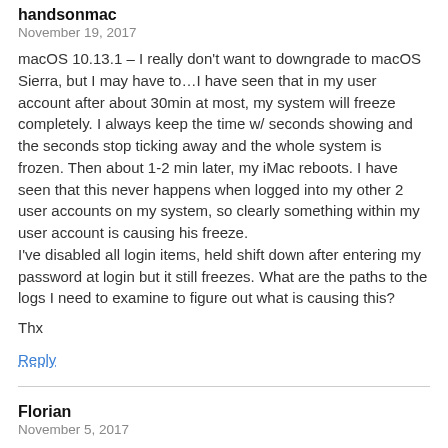handsonmac
November 19, 2017
macOS 10.13.1 – I really don't want to downgrade to macOS Sierra, but I may have to…I have seen that in my user account after about 30min at most, my system will freeze completely. I always keep the time w/ seconds showing and the seconds stop ticking away and the whole system is frozen. Then about 1-2 min later, my iMac reboots. I have seen that this never happens when logged into my other 2 user accounts on my system, so clearly something within my user account is causing his freeze.
I've disabled all login items, held shift down after entering my password at login but it still freezes. What are the paths to the logs I need to examine to figure out what is causing this?

Thx
Reply
Florian
November 5, 2017
Thanks a lot, it worked flawlessly. And I could put back the new documents from the most recent Time Machine backup (high sierra to sierra). So far